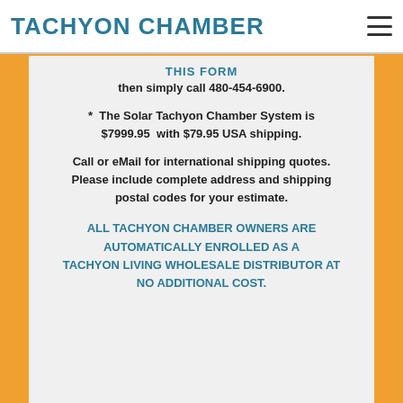TACHYON CHAMBER
THIS FORM
then simply call 480-454-6900.
* The Solar Tachyon Chamber System is $7999.95 with $79.95 USA shipping.
Call or eMail for international shipping quotes. Please include complete address and shipping postal codes for your estimate.
ALL TACHYON CHAMBER OWNERS ARE AUTOMATICALLY ENROLLED AS A TACHYON LIVING WHOLESALE DISTRIBUTOR AT NO ADDITIONAL COST.